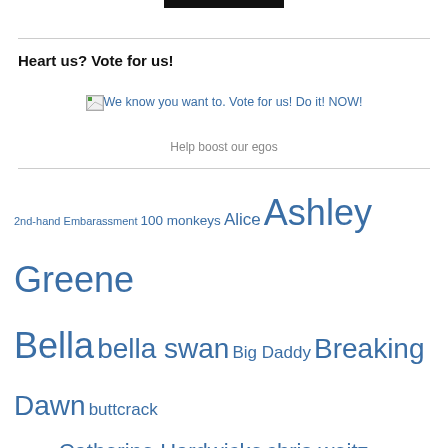[Figure (other): Black rectangular banner/logo bar at top center]
Heart us? Vote for us!
[Figure (other): Broken image placeholder with text: We know you want to. Vote for us! Do it! NOW!]
Help boost our egos
2nd-hand Embarassment 100 monkeys Alice Ashley Greene Bella bella swan Big Daddy Breaking Dawn buttcrack santa Catherine Hardwicke chris weitz comedy Cullen dakota fanning David Slade Eclipse Edward edward cullen exclusive fake lesbians fan fangirl fangirls fan letter Fan Letters fans forks funny gossip hot Jackson Rathbone Jacob jacob black jasper kellan lutz Kristen Stewart Los Angeles LTT